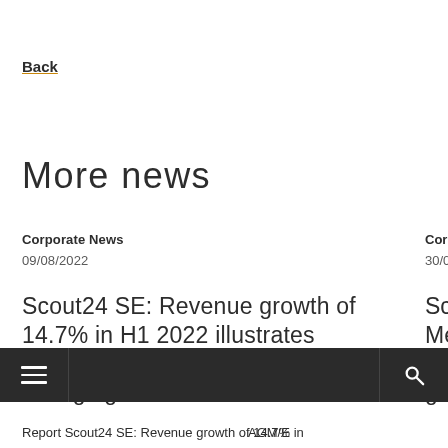Back
More news
Corporate News
09/08/2022
Scout24 SE: Revenue growth of 14.7% in H1 2022 illustrates Scout24's growing relevance in a changing market
Corpo
30/06/2
Scou Meet prop grea
Report Scout24 SE: Revenue growth of 14.7% in
AGM/E